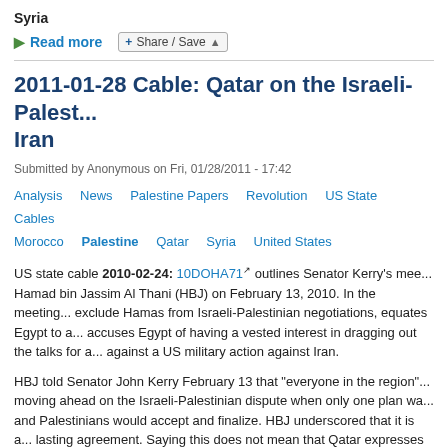Syria
Read more
2011-01-28 Cable: Qatar on the Israeli-Palest... Iran
Submitted by Anonymous on Fri, 01/28/2011 - 17:42
Analysis   News   Palestine Papers   Revolution   US State Cables   Morocco   Palestine   Qatar   Syria   United States
US state cable 2010-02-24: 10DOHA71 outlines Senator Kerry's mee... Hamad bin Jassim Al Thani (HBJ) on February 13, 2010. In the meeting... exclude Hamas from Israeli-Palestinian negotiations, equates Egypt to a... accuses Egypt of having a vested interest in dragging out the talks for a... against a US military action against Iran.
HBJ told Senator John Kerry February 13 that "everyone in the region"... moving ahead on the Israeli-Palestinian dispute when only one plan wa... and Palestinians would accept and finalize. HBJ underscored that it is a... lasting agreement. Saying this does not mean that Qatar expresses a p... Palestinian Authority (PA) cannot sign off on an agreement on behalf of... exist.